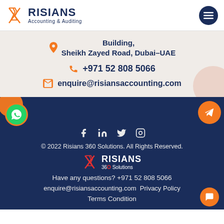[Figure (logo): Risians Accounting & Auditing logo with orange X icon and dark blue text]
Building, Sheikh Zayed Road, Dubai-UAE
+971 52 808 5066
enquire@risiansaccounting.com
© 2022 Risians 360 Solutions. All Rights Reserved.
[Figure (logo): Risians 360 Solutions footer logo with red/white icon and white text]
Have any questions? +971 52 808 5066
enquire@risiansaccounting.com Privacy Policy
Terms Condition